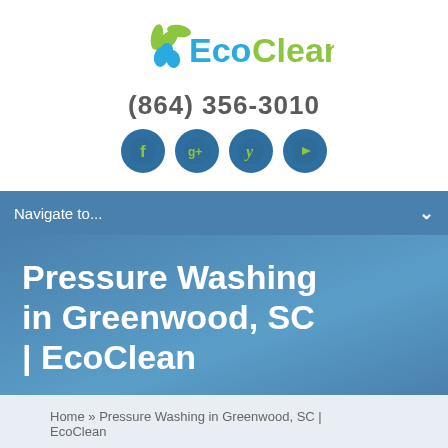[Figure (logo): EcoClean logo with green leaf/flower icon and teal 'EcoClean' text]
(864) 356-3010
[Figure (infographic): Four circular social media icons (Facebook, Google+, Yelp, YouTube) on dark blue circular backgrounds with green icons]
Navigate to...
Pressure Washing in Greenwood, SC | EcoClean
Home » Pressure Washing in Greenwood, SC | EcoClean